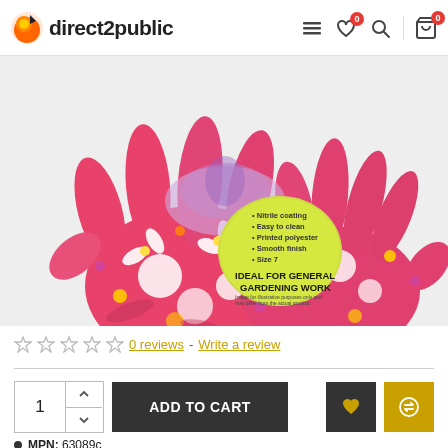[Figure (logo): direct2public logo with orange bird/flame icon and bold text]
[Figure (photo): Pink floral printed gardening gloves with nitrile coating, shown palm-side up with a circular tag reading IDEAL FOR GENERAL GARDENING WORK and bullet points: Nitrile coating, Easy to clean, Printed polyester, Smooth finish, Size 7]
0 reviews - Write a review
1  ADD TO CART
MPN: 63089c